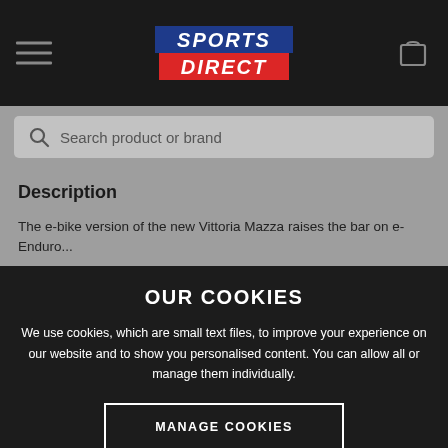[Figure (logo): Sports Direct logo with SPORTS in blue background and DIRECT in red background, italic white text]
Search product or brand
Description
The e-bike version of the new Vittoria Mazza raises the bar on e-Enduro...
OUR COOKIES
We use cookies, which are small text files, to improve your experience on our website and to show you personalised content. You can allow all or manage them individually.
MANAGE COOKIES
ALLOW ALL